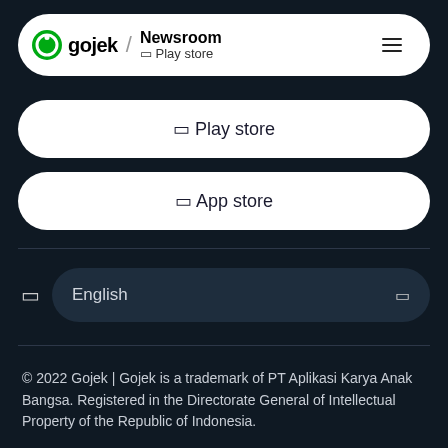gojek / Newsroom  Play store
Play store
App store
English
© 2022 Gojek | Gojek is a trademark of PT Aplikasi Karya Anak Bangsa. Registered in the Directorate General of Intellectual Property of the Republic of Indonesia.